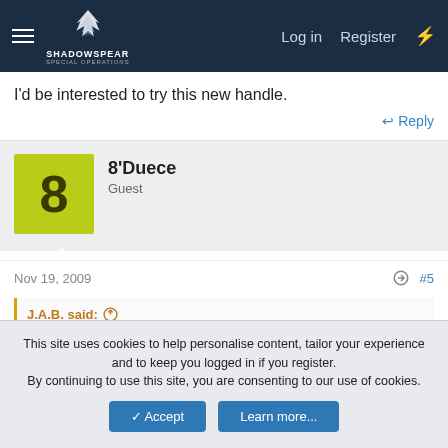ShadowSpear Special Operations | Log in | Register
I'd be interested to try this new handle.
↩ Reply
8'Duece
Guest
Nov 19, 2009
#5
J.A.B. said: ⊕
Although I have not used this latch, I used one similar to it for about 3 weeks on my last deployment. I do not care for the extended latch, it catch's on ammo pouches and molle webbing when I am just letting my rifle hang (slung). As I would move around it would catch on my
This site uses cookies to help personalise content, tailor your experience and to keep you logged in if you register.
By continuing to use this site, you are consenting to our use of cookies.
Accept  Learn more...